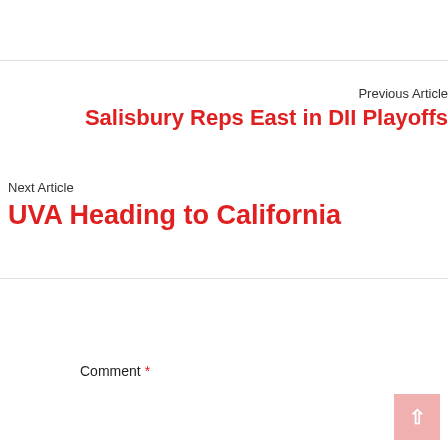Previous Article
Salisbury Reps East in DII Playoffs
Next Article
UVA Heading to California
Leave a Reply
Comment *